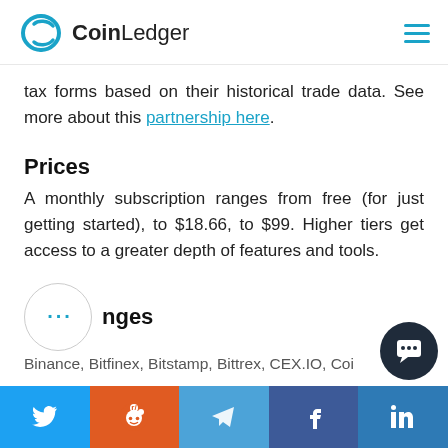CoinLedger
tax forms based on their historical trade data. See more about this partnership here.
Prices
A monthly subscription ranges from free (for just getting started), to $18.66, to $99. Higher tiers get access to a greater depth of features and tools.
Exchanges
Binance, Bitfinex, Bitstamp, Bittrex, CEX.IO, Coi...